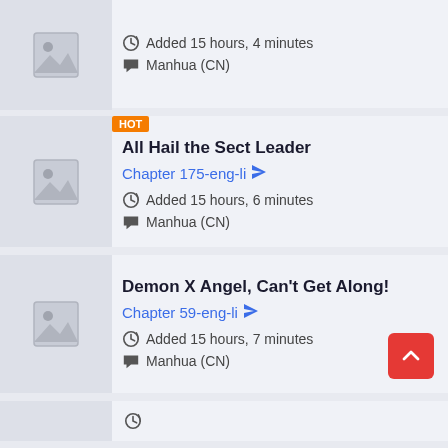[Figure (screenshot): Partial manga listing card at top: thumbnail placeholder, Added 15 hours, 4 minutes, Manhua (CN)]
Added 15 hours, 4 minutes
Manhua (CN)
All Hail the Sect Leader
Chapter 175-eng-li
Added 15 hours, 6 minutes
Manhua (CN)
Demon X Angel, Can't Get Along!
Chapter 59-eng-li
Added 15 hours, 7 minutes
Manhua (CN)
[Figure (screenshot): Partial manga listing card at bottom, partially visible]